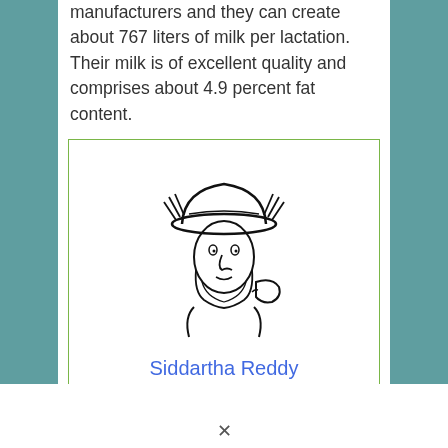manufacturers and they can create about 767 liters of milk per lactation. Their milk is of excellent quality and comprises about 4.9 percent fat content.
[Figure (illustration): Black and white line drawing illustration of a farmer wearing a hat, holding a bowl]
Siddartha Reddy
Hello, I am Siddartha Reddy . A fulltime farmer